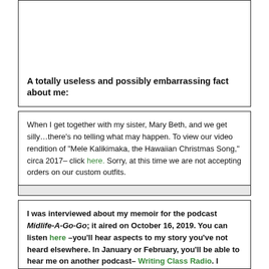A totally useless and possibly embarrassing fact about me:
When I get together with my sister, Mary Beth, and we get silly…there's no telling what may happen. To view our video rendition of "Mele Kalikimaka, the Hawaiian Christmas Song," circa 2017– click here. Sorry, at this time we are not accepting orders on our custom outfits.
[Figure (other): Gray shaded box/banner element]
I was interviewed about my memoir for the podcast Midlife-A-Go-Go; it aired on October 16, 2019. You can listen here –you'll hear aspects to my story you've not heard elsewhere. In January or February, you'll be able to hear me on another podcast– Writing Class Radio. I recorded an essay I wrote about